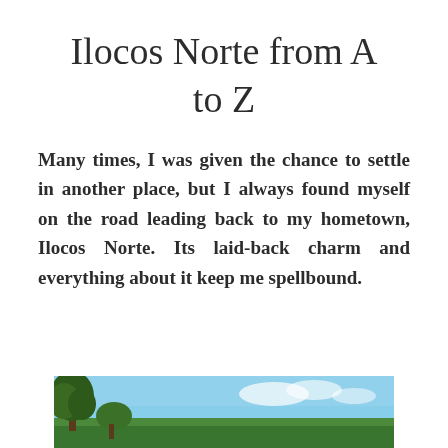Ilocos Norte from A to Z
Many times, I was given the chance to settle in another place, but I always found myself on the road leading back to my hometown, Ilocos Norte. Its laid-back charm and everything about it keep me spellbound.
[Figure (photo): Outdoor landscape photo showing trees and blue sky, partially visible at the bottom of the page]